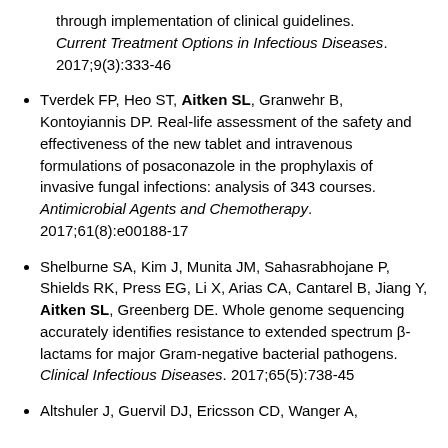through implementation of clinical guidelines. Current Treatment Options in Infectious Diseases. 2017;9(3):333-46
Tverdek FP, Heo ST, Aitken SL, Granwehr B, Kontoyiannis DP. Real-life assessment of the safety and effectiveness of the new tablet and intravenous formulations of posaconazole in the prophylaxis of invasive fungal infections: analysis of 343 courses. Antimicrobial Agents and Chemotherapy. 2017;61(8):e00188-17
Shelburne SA, Kim J, Munita JM, Sahasrabhojane P, Shields RK, Press EG, Li X, Arias CA, Cantarel B, Jiang Y, Aitken SL, Greenberg DE. Whole genome sequencing accurately identifies resistance to extended spectrum β-lactams for major Gram-negative bacterial pathogens. Clinical Infectious Diseases. 2017;65(5):738-45
Altshuler J, Guervil DJ, Ericsson CD, Wanger A,